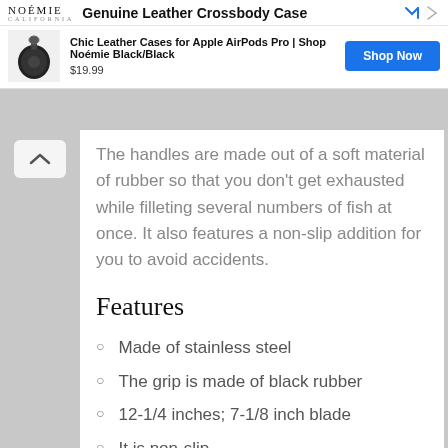[Figure (screenshot): Advertisement banner for Noémie Genuine Leather Crossbody Case. Shows logo, product title, AirPods case image, price $19.99, and Shop Now button.]
The handles are made out of a soft material of rubber so that you don't get exhausted while filleting several numbers of fish at once. It also features a non-slip addition for you to avoid accidents.
Features
Made of stainless steel
The grip is made of black rubber
12-1/4 inches; 7-1/8 inch blade
It is non-slip
Includes a black leather scabbard